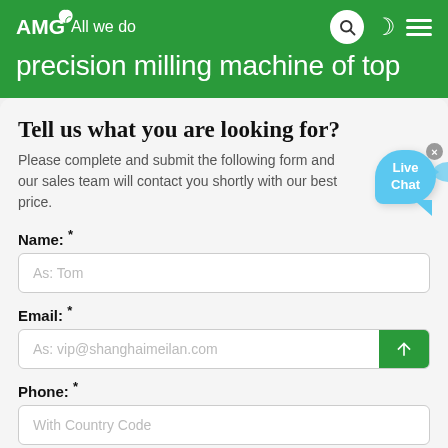AMG All we do — precision milling machine of top
Tell us what you are looking for?
Please complete and submit the following form and our sales team will contact you shortly with our best price.
Name: *
As: Tom
Email: *
As: vip@shanghaimeilan.com
Phone: *
With Country Code
The location of the Project: